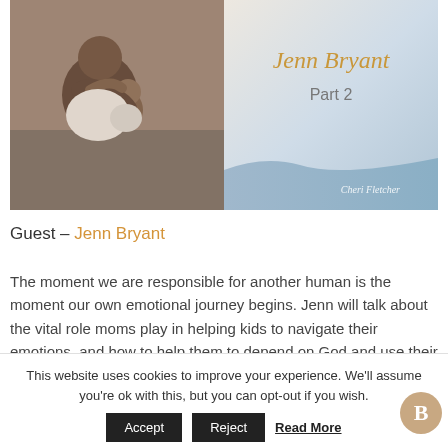[Figure (illustration): Book or podcast cover image split in two halves. Left half shows a photo of a mother and child hugging on a couch. Right half has a light blue/grey gradient background with cursive text 'Jenn Bryant' in gold/amber color, 'Part 2' in grey below, and 'Cheri Fletcher' in the bottom right corner.]
Guest – Jenn Bryant
The moment we are responsible for another human is the moment our own emotional journey begins. Jenn will talk about the vital role moms play in helping kids to navigate their emotions, and how to help them to depend on God and use their
This website uses cookies to improve your experience. We'll assume you're ok with this, but you can opt-out if you wish.
Accept   Reject   Read More